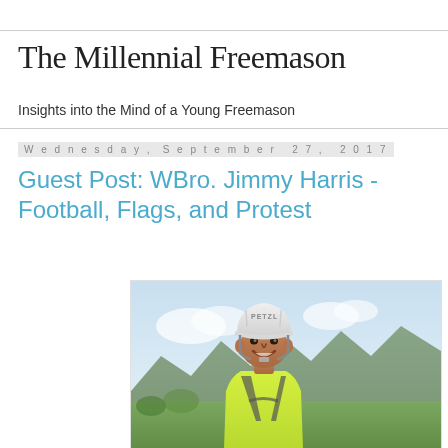The Millennial Freemason
Insights into the Mind of a Young Freemason
Wednesday, September 27, 2017
Guest Post: WBro. Jimmy Harris - Football, Flags, and Protest
[Figure (photo): A man wearing a white Petzl climbing helmet and yellow high-visibility vest with climbing harness, smiling at the camera. Mountain and valley landscape visible in background.]